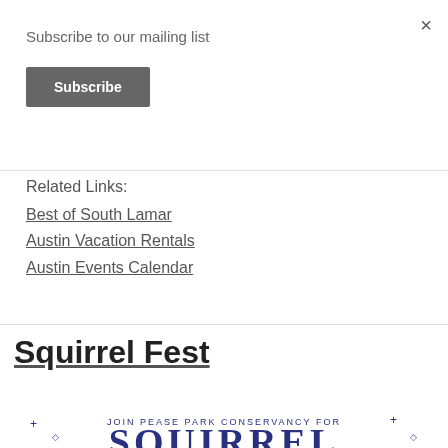×
Subscribe to our mailing list
Subscribe
Related Links:
Best of South Lamar
Austin Vacation Rentals
Austin Events Calendar
Squirrel Fest
[Figure (logo): Squirrel Fest logo — JOIN PEASE PARK CONSERVANCY FOR text above large decorative letters, partial view cut off at bottom]